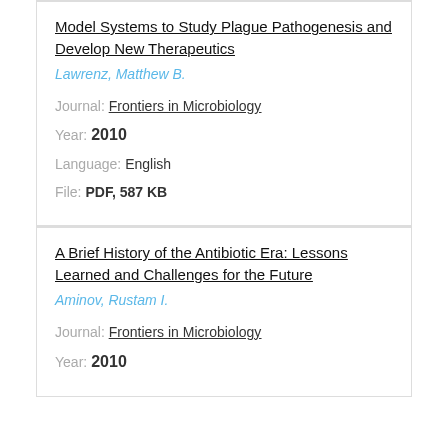Model Systems to Study Plague Pathogenesis and Develop New Therapeutics
Lawrenz, Matthew B.
Journal: Frontiers in Microbiology
Year: 2010
Language: English
File: PDF, 587 KB
A Brief History of the Antibiotic Era: Lessons Learned and Challenges for the Future
Aminov, Rustam I.
Journal: Frontiers in Microbiology
Year: 2010